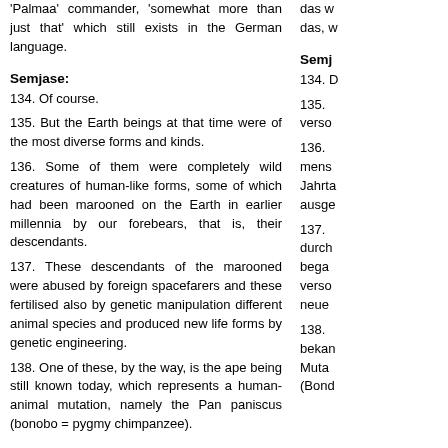Palmaa commander, somewhat more than just that which still exists in the German language.
das w das, w
Semjase:
134. Of course.
135. But the Earth beings at that time were of the most diverse forms and kinds.
136. Some of them were completely wild creatures of human-like forms, some of which had been marooned on the Earth in earlier millennia by our forebears, that is, their descendants.
137. These descendants of the marooned were abused by foreign spacefarers and these fertilised also by genetic manipulation different animal species and produced new life forms by genetic engineering.
138. One of these, by the way, is the ape being still known today, which represents a human-animal mutation, namely the Pan paniscus (bonobo = pygmy chimpanzee).
Semj
134. D
135. verso
136. mens Jahrta ausge
137. durch bega verso neue
138. bekan Muta (Bond